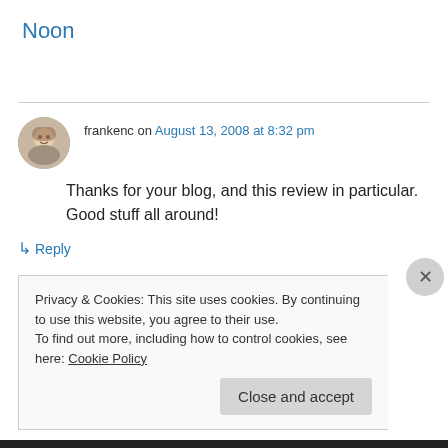Noon
frankenc on August 13, 2008 at 8:32 pm
Thanks for your blog, and this review in particular. Good stuff all around!
↳ Reply
Privacy & Cookies: This site uses cookies. By continuing to use this website, you agree to their use.
To find out more, including how to control cookies, see here: Cookie Policy